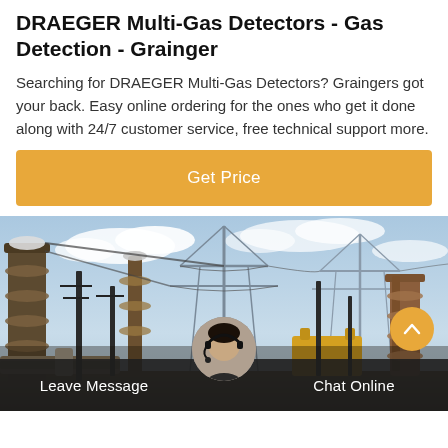DRAEGER Multi-Gas Detectors - Gas Detection - Grainger
Searching for DRAEGER Multi-Gas Detectors? Graingers got your back. Easy online ordering for the ones who get it done along with 24/7 customer service, free technical support more.
[Figure (other): Orange 'Get Price' button]
[Figure (photo): Industrial electrical substation with power lines, transformers, and pylons under a partly cloudy sky]
Leave Message   Chat Online